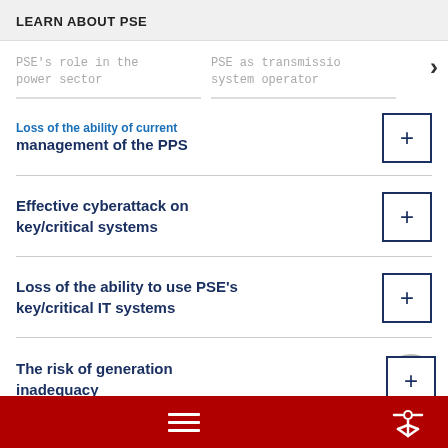LEARN ABOUT PSE
PSE's role in the power sector
PSE as transmission system operator
Loss of the ability of current management of the PPS
Effective cyberattack on key/critical systems
Loss of the ability to use PSE's key/critical IT systems
The risk of generation inadequacy
Navigation footer with menu and tools icons